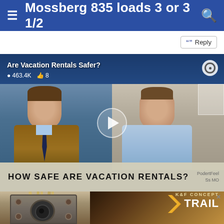≡  Mossberg 835 loads 3 or 3 1/2  🔍
Reply
[Figure (screenshot): Embedded video thumbnail showing two men in a split-screen interview format. Left man wears a brown jacket and dark tie; right man wears a light blue shirt. A play button is overlaid in the center. Video title: Are Vacation Rentals Safer? 463.4K views, 8 likes. Lower caption bar reads: HOW SAFE ARE VACATION RENTALS?]
[Figure (photo): Advertisement for K&F Concept Trail camera product. Shows a trail camera on the left and orange/gold branded background on right with K&F Concept logo and TRAIL text.]